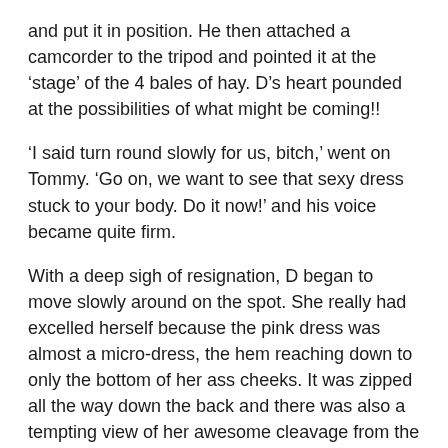and put it in position. He then attached a camcorder to the tripod and pointed it at the ‘stage’ of the 4 bales of hay. D’s heart pounded at the possibilities of what might be coming!!
‘I said turn round slowly for us, bitch,’ went on Tommy. ‘Go on, we want to see that sexy dress stuck to your body. Do it now!’ and his voice became quite firm.
With a deep sigh of resignation, D began to move slowly around on the spot. She really had excelled herself because the pink dress was almost a micro-dress, the hem reaching down to only the bottom of her ass cheeks. It was zipped all the way down the back and there was also a tempting view of her awesome cleavage from the deep v-neck.
‘Shit, she looks fuckin’ hot today, doesn’t she, Tommy,’